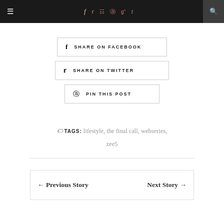≡  f  𝕥  ☷  ⓟ  g+  t  🔍
SHARE ON FACEBOOK
SHARE ON TWITTER
PIN THIS POST
TAGS: lifestyle, the final call, webseries, zee5
← Previous Story   Next Story →